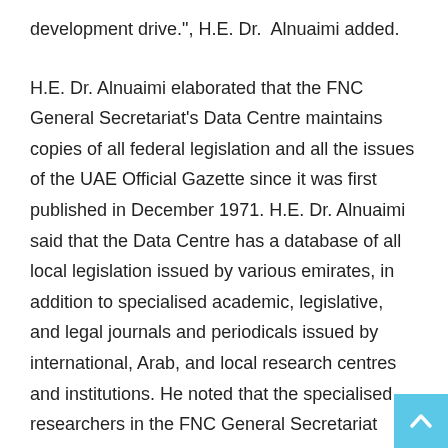development drive.", H.E. Dr. Alnuaimi added.
H.E. Dr. Alnuaimi elaborated that the FNC General Secretariat's Data Centre maintains copies of all federal legislation and all the issues of the UAE Official Gazette since it was first published in December 1971. H.E. Dr. Alnuaimi said that the Data Centre has a database of all local legislation issued by various emirates, in addition to specialised academic, legislative, and legal journals and periodicals issued by international, Arab, and local research centres and institutions. He noted that the specialised researchers in the FNC General Secretariat have outstanding technical expertise in conducting technical research to support the FNC in its legislative, oversight, parliamentary, and diplomatic functions. “We commend the SLC for playing a key role in the Emirate of Dubai by keeping up with the Emirate’s fast-paced developments in various sectors,” H.E Dr. Alnuaimi concluded.